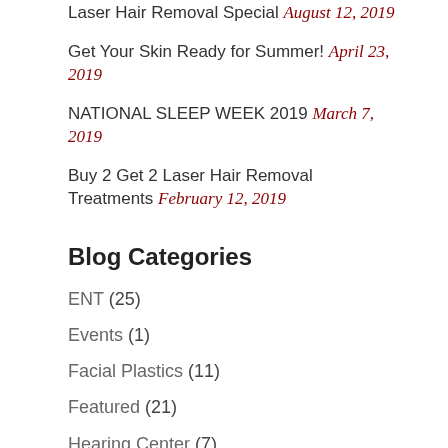Laser Hair Removal Special August 12, 2019
Get Your Skin Ready for Summer! April 23, 2019
NATIONAL SLEEP WEEK 2019 March 7, 2019
Buy 2 Get 2 Laser Hair Removal Treatments February 12, 2019
Blog Categories
ENT (25)
Events (1)
Facial Plastics (11)
Featured (21)
Hearing Center (7)